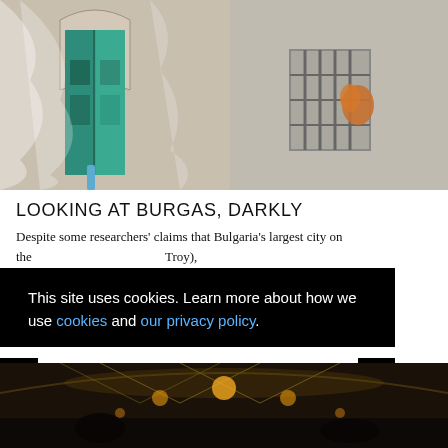[Figure (photo): Street scene showing an old weathered building with a turquoise/green arched double door on the left and a barred window with an orange object on the right. White gauzy fabric or material is draped in front. Two small blue posts at the bottom.]
LOOKING AT BURGAS, DARKLY
Despite some researchers' claims that Bulgaria's largest city on the                               Troy),
[Figure (photo): Interior shot of what appears to be a dimly lit ornate building or marketplace with decorative ceiling/chandelier elements.]
This site uses cookies. Learn more about how we use cookies and our privacy policy.
Got it!